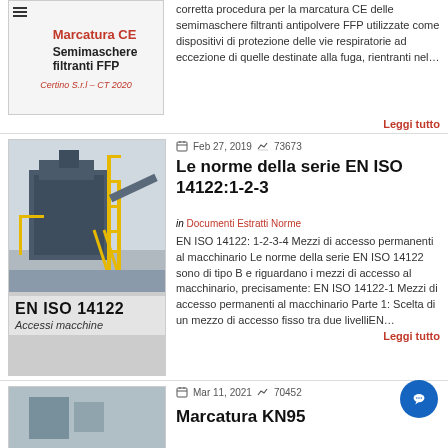[Figure (illustration): Thumbnail card for CE marking article: red 'Marcatura CE' title, bold 'Semimaschere filtranti FFP' subtitle, Certino S.r.l brand text, hamburger menu icon]
corretta procedura per la marcatura CE delle semimaschere filtranti antipolvere FFP utilizzate come dispositivi di protezione delle vie respiratorie ad eccezione di quelle destinate alla fuga, rientranti nel...
Leggi tutto
Feb 27, 2019   73673
Le norme della serie EN ISO 14122:1-2-3
in Documenti Estratti Norme
[Figure (photo): Industrial machinery with yellow scaffolding/access stairs, large blue machine body. Below: text 'EN ISO 14122' and 'Accessi macchine' on grey background.]
EN ISO 14122: 1-2-3-4 Mezzi di accesso permanenti al macchinario Le norme della serie EN ISO 14122 sono di tipo B e riguardano i mezzi di accesso al macchinario, precisamente: EN ISO 14122-1 Mezzi di accesso permanenti al macchinario Parte 1: Scelta di un mezzo di accesso fisso tra due livelliEN...
Leggi tutto
Mar 11, 2021   70452
Marcatura KN95